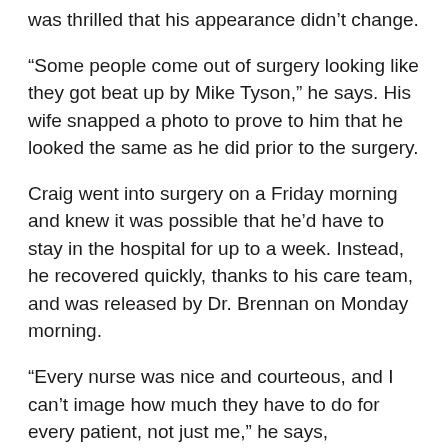was thrilled that his appearance didn't change.
“Some people come out of surgery looking like they got beat up by Mike Tyson,” he says. His wife snapped a photo to prove to him that he looked the same as he did prior to the surgery.
Craig went into surgery on a Friday morning and knew it was possible that he’d have to stay in the hospital for up to a week. Instead, he recovered quickly, thanks to his care team, and was released by Dr. Brennan on Monday morning.
“Every nurse was nice and courteous, and I can’t image how much they have to do for every patient, not just me,” he says, remembering that every detail was taken care of. “I never felt uncomfortable.”